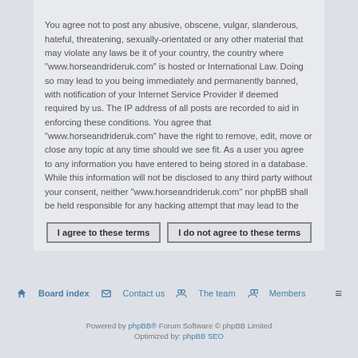You agree not to post any abusive, obscene, vulgar, slanderous, hateful, threatening, sexually-orientated or any other material that may violate any laws be it of your country, the country where "www.horseandrideruk.com" is hosted or International Law. Doing so may lead to you being immediately and permanently banned, with notification of your Internet Service Provider if deemed required by us. The IP address of all posts are recorded to aid in enforcing these conditions. You agree that "www.horseandrideruk.com" have the right to remove, edit, move or close any topic at any time should we see fit. As a user you agree to any information you have entered to being stored in a database. While this information will not be disclosed to any third party without your consent, neither "www.horseandrideruk.com" nor phpBB shall be held responsible for any hacking attempt that may lead to the data being compromised.
I agree to these terms
I do not agree to these terms
Board index   Contact us   The team   Members
Powered by phpBB® Forum Software © phpBB Limited
Optimized by: phpBB SEO